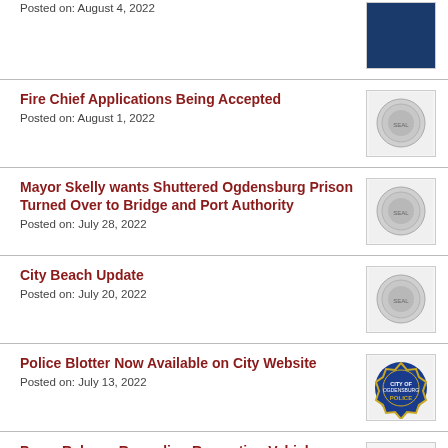Posted on: August 4, 2022
Fire Chief Applications Being Accepted
Posted on: August 1, 2022
Mayor Skelly wants Shuttered Ogdensburg Prison Turned Over to Bridge and Port Authority
Posted on: July 28, 2022
City Beach Update
Posted on: July 20, 2022
Police Blotter Now Available on City Website
Posted on: July 13, 2022
Press Release Regarding Recreation Vehicles Parked on City...